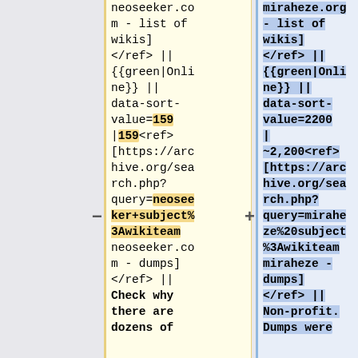neoseeker.com - list of wikis] </ref> || {{green|Online}} || data-sort-value=159 |159<ref>[https://archive.org/search.php?query=neoseeker+subject%3Awikiteam neoseeker.com - dumps] </ref> || Check why there are dozens of
miraheze.org - list of wikis] </ref> || {{green|Online}} || data-sort-value=2200 | ~2,200<ref>[https://archive.org/search.php?query=miraheze%20subject%3Awikiteam miraheze - dumps] </ref> || Non-profit. Dumps were